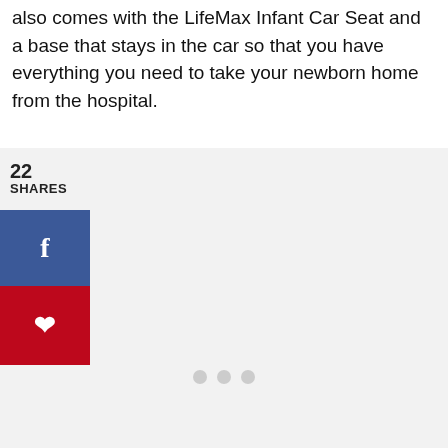also comes with the LifeMax Infant Car Seat and a base that stays in the car so that you have everything you need to take your newborn home from the hospital.
22 SHARES
[Figure (infographic): Social share buttons: Facebook (blue) and Pinterest (red), with share count of 22, and three loading dots below]